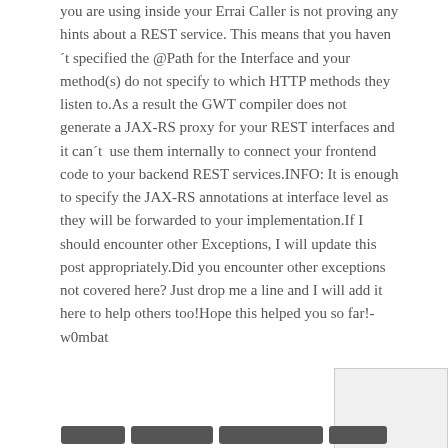you are using inside your Errai Caller is not proving any hints about a REST service. This means that you haven't specified the @Path for the Interface and your method(s) do not specify to which HTTP methods they listen to.As a result the GWT compiler does not generate a JAX-RS proxy for your REST interfaces and it can't  use them internally to connect your frontend code to your backend REST services.INFO: It is enough to specify the JAX-RS annotations at interface level as they will be forwarded to your implementation.If I should encounter other Exceptions, I will update this post appropriately.Did you encounter other exceptions not covered here? Just drop me a line and I will add it here to help others too!Hope this helped you so far!-w0mbat